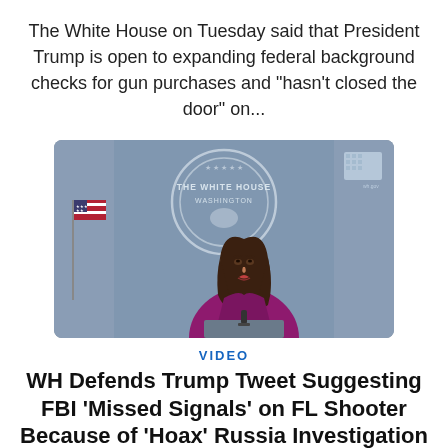The White House on Tuesday said that President Trump is open to expanding federal background checks for gun purchases and "hasn't closed the door" on...
[Figure (photo): Video thumbnail showing a woman in a magenta/purple blazer speaking at the White House press briefing podium, with the White House seal visible in the background and an American flag to the left.]
VIDEO
WH Defends Trump Tweet Suggesting FBI ‘Missed Signals’ on FL Shooter Because of ‘Hoax’ Russia Investigation